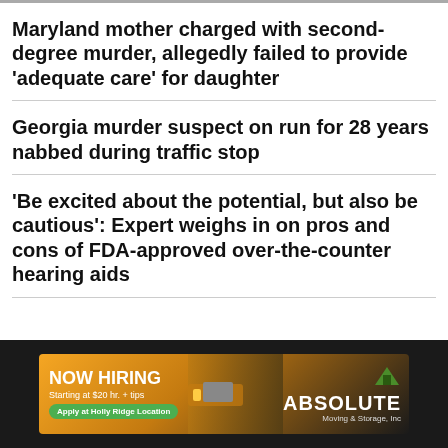Maryland mother charged with second-degree murder, allegedly failed to provide 'adequate care' for daughter
Georgia murder suspect on run for 28 years nabbed during traffic stop
'Be excited about the potential, but also be cautious': Expert weighs in on pros and cons of FDA-approved over-the-counter hearing aids
[Figure (infographic): NOW HIRING advertisement for Absolute Moving & Storage, Inc. Starting at $20 hr. + tips. Apply at Holly Ridge Location.]